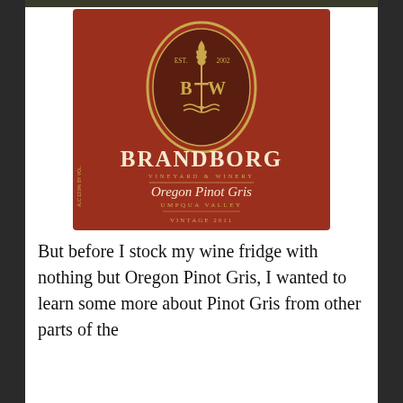[Figure (illustration): Brandborg Vineyard & Winery wine label for Oregon Pinot Gris, Umpqua Valley, Vintage 2011. Dark red/burgundy background with gold oval emblem showing EST. 2002, B|W letters with a sword and flame motif. Text reads: BRANDBORG VINEYARD & WINERY, Oregon Pinot Gris, UMPQUA VALLEY, VINTAGE 2011. Side text: ALC 12.9% BY VOL.]
But before I stock my wine fridge with nothing but Oregon Pinot Gris, I wanted to learn some more about Pinot Gris from other parts of the